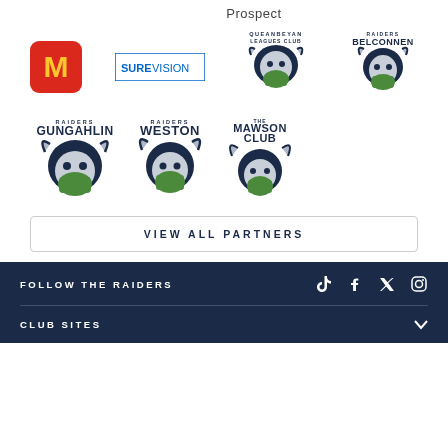Prospect
[Figure (logo): McDonald's red square logo with golden arches]
[Figure (logo): SureVision logo with blue text and rectangle]
[Figure (logo): Queanbeyan Leagues Club Raiders logo with viking mascot]
[Figure (logo): Raiders Belconnen logo with viking mascot]
[Figure (logo): Raiders Gungahlin logo with viking mascot]
[Figure (logo): Raiders Weston logo with viking mascot]
[Figure (logo): The Mawson Club logo with viking mascot]
VIEW ALL PARTNERS
FOLLOW THE RAIDERS
CLUB SITES